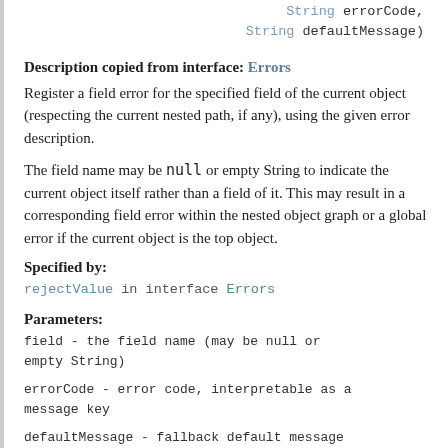String errorCode,
                    String defaultMessage)
Description copied from interface: Errors
Register a field error for the specified field of the current object (respecting the current nested path, if any), using the given error description.
The field name may be null or empty String to indicate the current object itself rather than a field of it. This may result in a corresponding field error within the nested object graph or a global error if the current object is the top object.
Specified by:
rejectValue in interface Errors
Parameters:
field - the field name (may be null or empty String)
errorCode - error code, interpretable as a message key
defaultMessage - fallback default message